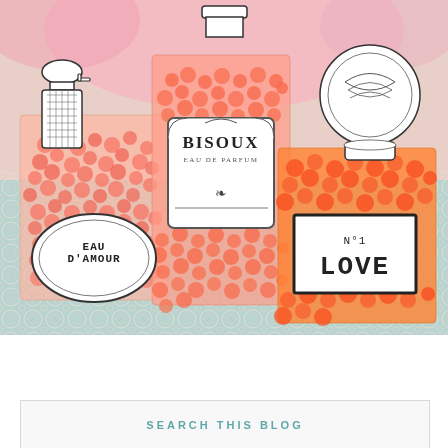[Figure (photo): Three clear candy bags filled with orange/pink jelly beans arranged on a crocheted lace doily. Each bag has a perfume-themed label: left bag has oval label reading 'EAU D'AMOUR', center bag has rectangular label reading 'BISOUX EAU DE PARFUM', right bag has rectangular label reading 'N°1 LOVE'. Decorative perfume bottle stickers are attached to the tops of the bags. Pink background with decorative elements visible at the top.]
SEARCH THIS BLOG